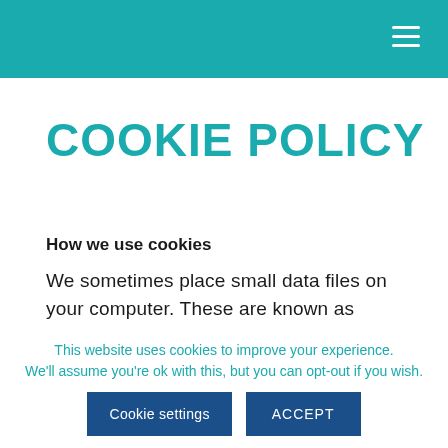≡
COOKIE POLICY
How we use cookies
We sometimes place small data files on your computer. These are known as
This website uses cookies to improve your experience. We'll assume you're ok with this, but you can opt-out if you wish.
Cookie settings   ACCEPT